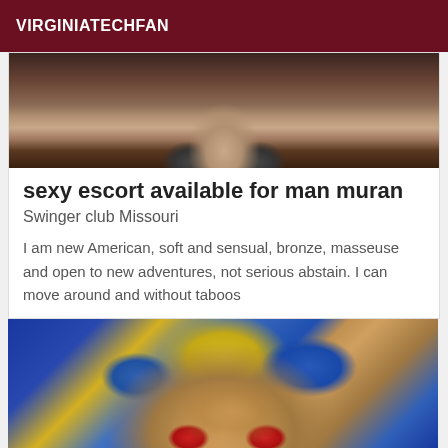VIRGINIATECHFAN
[Figure (photo): Partial photo showing legs/feet at top of listing card]
sexy escort available for man muran
Swinger club Missouri
I am new American, soft and sensual, bronze, masseuse and open to new adventures, not serious abstain. I can move around and without taboos
[Figure (photo): Photo of a person lying upside down wearing colorful costume with yellow headband, blue fabric, and red goggles]